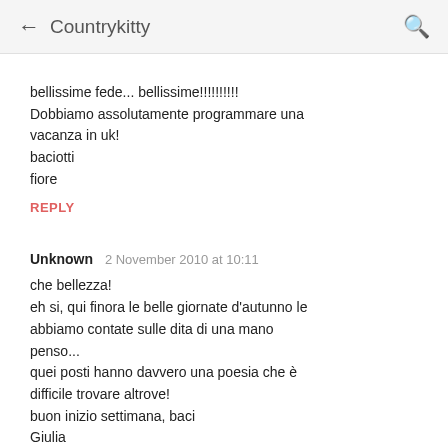← Countrykitty 🔍
bellissime fede... bellissime!!!!!!!!!!
Dobbiamo assolutamente programmare una vacanza in uk!
baciotti
fiore
REPLY
Unknown  2 November 2010 at 10:11
che bellezza!
eh si, qui finora le belle giornate d'autunno le abbiamo contate sulle dita di una mano penso...
quei posti hanno davvero una poesia che è difficile trovare altrove!
buon inizio settimana, baci
Giulia
REPLY